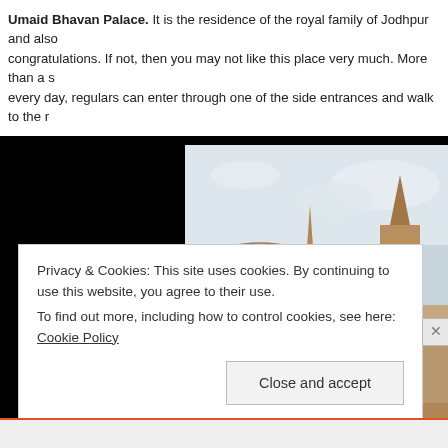Umaid Bhavan Palace. It is the residence of the royal family of Jodhpur and also congratulations. If not, then you may not like this place very much. More than a s every day, regulars can enter through one of the side entrances and walk to the r
[Figure (photo): Photograph of Umaid Bhavan Palace, Jodhpur — a large sandstone palace with cylindrical tower on the left, ornate spires and a clock tower on the right, with green trees and shrubs in the foreground and cloudy sky behind.]
Privacy & Cookies: This site uses cookies. By continuing to use this website, you agree to their use.
To find out more, including how to control cookies, see here: Cookie Policy
Close and accept